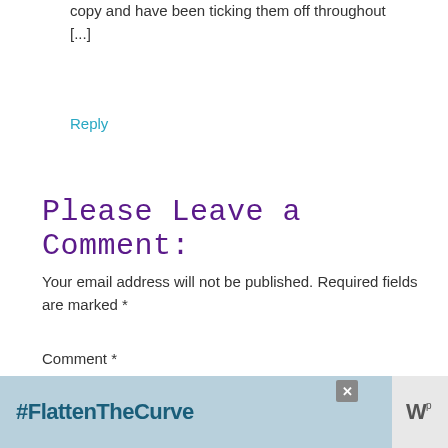copy and have been ticking them off throughout [...]
Reply
Please Leave a Comment:
Your email address will not be published. Required fields are marked *
Comment *
[Figure (screenshot): Empty comment text area input box]
[Figure (screenshot): #FlattenTheCurve advertisement banner with hand washing image and close button]